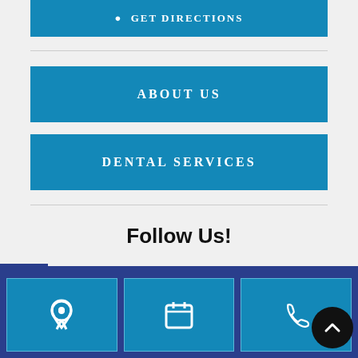GET DIRECTIONS
ABOUT US
DENTAL SERVICES
Follow Us!
[Figure (illustration): Facebook and Instagram social media icons]
[Figure (illustration): Bottom navigation bar with location, calendar, and phone icons, plus a scroll-to-top button]